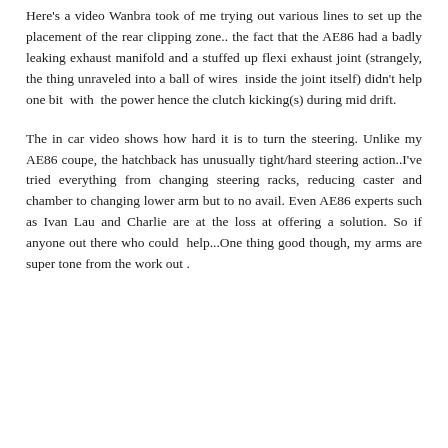Here's a video Wanbra took of me trying out various lines to set up the placement of the rear clipping zone.. the fact that the AE86 had a badly leaking exhaust manifold and a stuffed up flexi exhaust joint (strangely, the thing unraveled into a ball of wires  inside the joint itself) didn't help one bit  with  the power hence the clutch kicking(s) during mid drift.
The in car video shows how hard it is to turn the steering. Unlike my AE86 coupe, the hatchback has unusually tight/hard steering action..I've tried everything from changing steering racks, reducing caster and chamber to changing lower arm but to no avail. Even AE86 experts such as Ivan Lau and Charlie are at the loss at offering a solution. So if anyone out there who could  help...One thing good though, my arms are super tone from the work out .